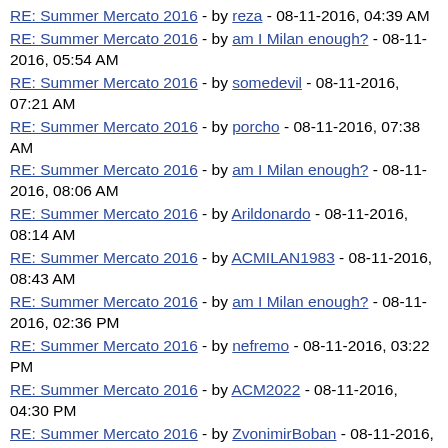RE: Summer Mercato 2016 - by reza - 08-11-2016, 04:39 AM
RE: Summer Mercato 2016 - by am I Milan enough? - 08-11-2016, 05:54 AM
RE: Summer Mercato 2016 - by somedevil - 08-11-2016, 07:21 AM
RE: Summer Mercato 2016 - by porcho - 08-11-2016, 07:38 AM
RE: Summer Mercato 2016 - by am I Milan enough? - 08-11-2016, 08:06 AM
RE: Summer Mercato 2016 - by Arildonardo - 08-11-2016, 08:14 AM
RE: Summer Mercato 2016 - by ACMILAN1983 - 08-11-2016, 08:43 AM
RE: Summer Mercato 2016 - by am I Milan enough? - 08-11-2016, 02:36 PM
RE: Summer Mercato 2016 - by nefremo - 08-11-2016, 03:22 PM
RE: Summer Mercato 2016 - by ACM2022 - 08-11-2016, 04:30 PM
RE: Summer Mercato 2016 - by ZvonimirBoban - 08-11-2016, 04:47 PM
RE: Summer Mercato 2016 - by nefremo - 08-11-2016, 05:49 PM
RE: Summer Mercato 2016 - by reza - 08-11-2016, 05:54 PM
RE: Summer Mercato 2016 - by nefremo - 08-11-2016, 06:20